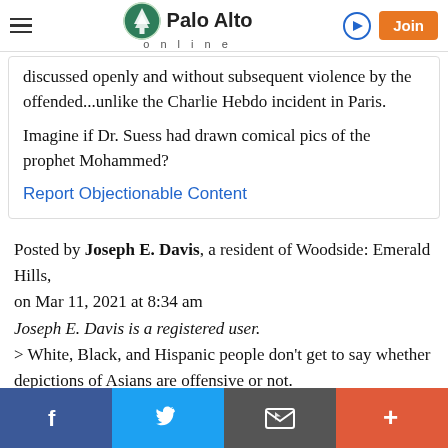Palo Alto online
discussed openly and without subsequent violence by the offended...unlike the Charlie Hebdo incident in Paris.

Imagine if Dr. Suess had drawn comical pics of the prophet Mohammed?
Report Objectionable Content
Posted by Joseph E. Davis, a resident of Woodside: Emerald Hills,
on Mar 11, 2021 at 8:34 am
Joseph E. Davis is a registered user.
> White, Black, and Hispanic people don't get to say whether depictions of Asians are offensive or not.
Social share bar: Facebook, Twitter, Email, More